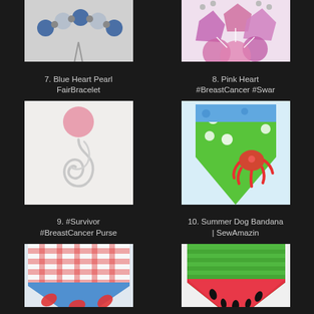[Figure (photo): Blue Heart Pearl FairBracelet - top portion of a bracelet with blue pearls and a blue heart charm pendant, partially cropped]
[Figure (photo): Pink Heart BreastCancer Swarovski - pink crystal heart jewelry with flower charms, partially cropped top]
7. Blue Heart Pearl FairBracelet
8. Pink Heart #BreastCancer #Swar
[Figure (photo): #Survivor #BreastCancer Purse - silver wire sculpture with pink ball accent]
[Figure (photo): Summer Dog Bandana SewAmazin - green floral and ocean themed fabric bandana triangle]
9. #Survivor #BreastCancer Purse
10. Summer Dog Bandana | SewAmazin
[Figure (photo): Dog bandana with red gingham check and blue lobster print fabric, partially cropped bottom]
[Figure (photo): Dog bandana with green striped and watermelon seed print fabric, partially cropped bottom]